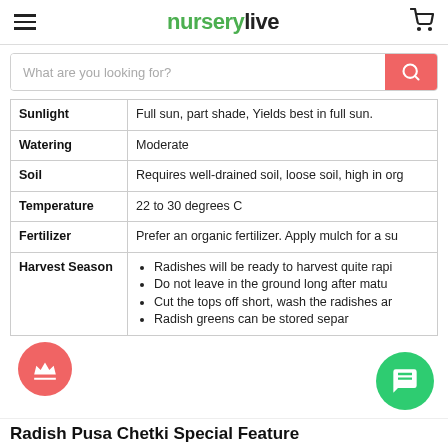nurserylive
| Property | Details |
| --- | --- |
| Sunlight | Full sun, part shade, Yields best in full sun. |
| Watering | Moderate |
| Soil | Requires well-drained soil, loose soil, high in org |
| Temperature | 22 to 30 degrees C |
| Fertilizer | Prefer an organic fertilizer. Apply mulch for a su |
| Harvest Season | Radishes will be ready to harvest quite rapi
Do not leave in the ground long after matu
Cut the tops off short, wash the radishes ar
Radish greens can be stored separ |
Radish Pusa Chetki Special Feature